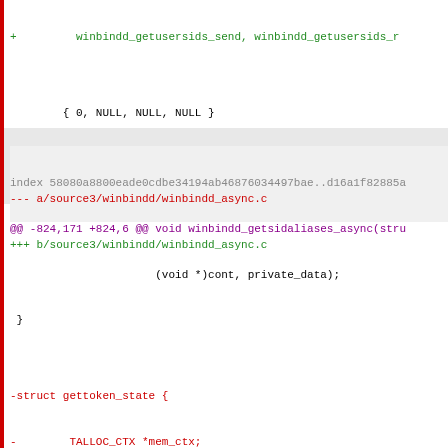+ winbindd_getusersids_send, winbindd_getusersids_r
{ 0, NULL, NULL, NULL }
};
diff --git a/source3/winbindd/winbindd_async.c b/source3/win
index 58080a8800eade0cdbe34194ab46876034497bae..d16a1f82885a
--- a/source3/winbindd/winbindd_async.c
+++ b/source3/winbindd/winbindd_async.c
@@ -824,171 +824,6 @@ void winbindd_getsidaliases_async(stru
(void *)cont, private_data);
}
-struct gettoken_state {
-        TALLOC_CTX *mem_ctx;
-        DOM_SID user_sid;
-        struct winbindd_domain *alias_domain;
-        struct winbindd_domain *local_alias_domain;
-        struct winbindd_domain *builtin_domain;
-        DOM_SID *sids;
-        size_t num_sids;
-        void (*cont)(void *private_data, bool success, DOM_S
-        void *private_data;
-};
-
-static void gettoken_recvdomgroups(TALLOC_CTX *mem_ctx, boo
-                                   struct winbindd_response
-                                   void *c, void *private_da
-static void gettoken_recvaliases(void *private_data, bool s
-                                 const DOM_SID *aliases,
-                                 size_t num_aliases);